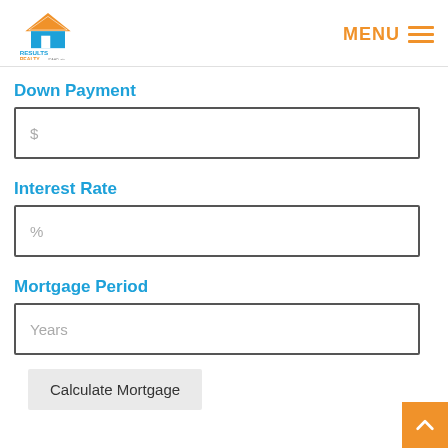Results Realty — MENU
Down Payment
$
Interest Rate
%
Mortgage Period
Years
Calculate Mortgage